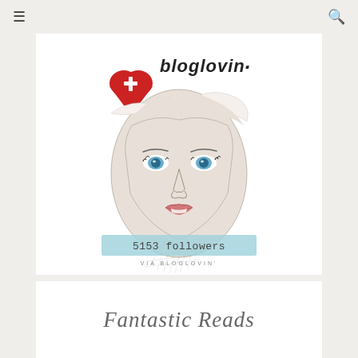≡  🔍
[Figure (illustration): Bloglovin illustration: a pencil-sketch drawing of a woman's face with blue eyes and pink lips, with the 'bloglovin.' logo text and a red heart with a white cross in the upper left. Below the illustration is a teal/light-blue badge reading '5153 followers' and below that 'VIA BLOGLOVIN'.]
Fantastic Reads